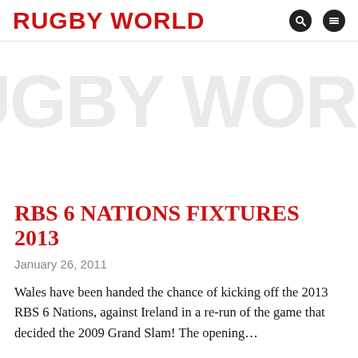RUGBY WORLD
[Figure (illustration): Large watermark/background text reading 'RUGBY WORLD' in light gray, displayed behind the header area]
RBS 6 NATIONS FIXTURES 2013
January 26, 2011
Wales have been handed the chance of kicking off the 2013 RBS 6 Nations, against Ireland in a re-run of the game that decided the 2009 Grand Slam! The opening...